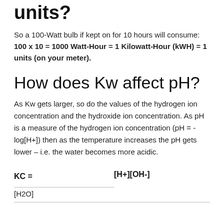units?
So a 100-Watt bulb if kept on for 10 hours will consume: 100 x 10 = 1000 Watt-Hour = 1 Kilowatt-Hour (kWH) = 1 units (on your meter).
How does Kw affect pH?
As Kw gets larger, so do the values of the hydrogen ion concentration and the hydroxide ion concentration. As pH is a measure of the hydrogen ion concentration (pH = -log[H+]) then as the temperature increases the pH gets lower – i.e. the water becomes more acidic.